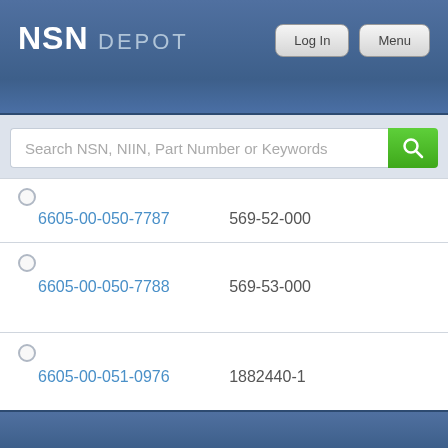NSN DEPOT
[Figure (screenshot): Search bar with placeholder text 'Search NSN, NIIN, Part Number or Keywords' and a green search button]
| NSN | Part Number |
| --- | --- |
| 6605-00-050-7787 | 569-52-000 |
| 6605-00-050-7788 | 569-53-000 |
| 6605-00-051-0976 | 1882440-1 |